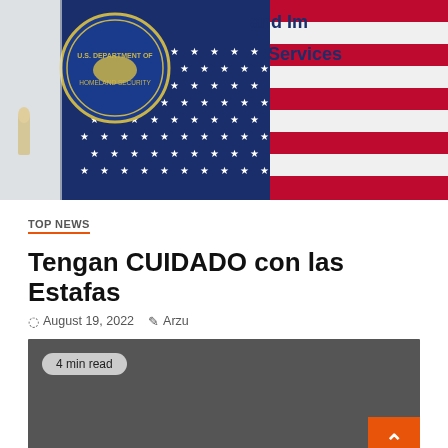[Figure (photo): Photo of a US flag and a bullet, with US Department of Homeland Security and Immigration and Customs Enforcement seal/logo visible in the background.]
TOP NEWS
Tengan CUIDADO con las Estafas
August 19, 2022   Arzu
4 min read